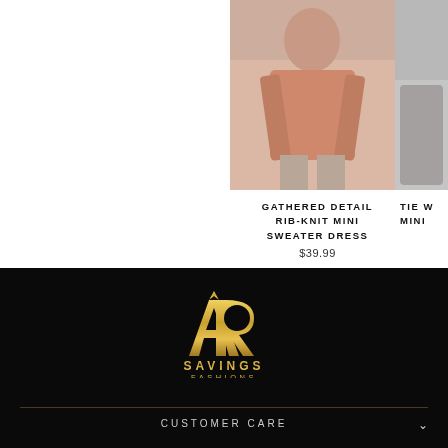[Figure (photo): Product photo of a model wearing a gathered detail rib-knit mini sweater dress in terracotta/orange color]
GATHERED DETAIL RIB-KNIT MINI SWEATER DRESS
$39.99
TIE W MINI
[Figure (logo): AR Savings Fashions logo in gold on black background — stylized AR monogram with SAVINGS FASHIONS text below]
CUSTOMER CARE